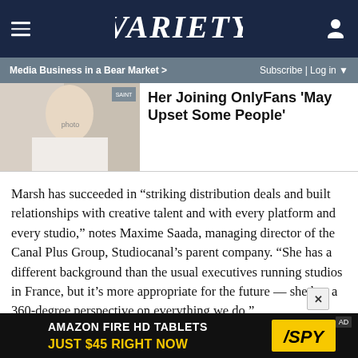VARIETY
Media Business in a Bear Market >
Subscribe | Log in
Baywatch Star Donna D'Errico Says Her Joining OnlyFans 'May Upset Some People'
Marsh has succeeded in “striking distribution deals and built relationships with creative talent and with every platform and every studio,” notes Maxime Saada, managing director of the Canal Plus Group, Studiocanal’s parent company. “She has a different background than the usual executives running studios in France, but it’s more appropriate for the future — she has a 360-degree perspective on everything we do.”
Marsh allows that a key asset has been her understanding o…
[Figure (photo): Advertisement banner: Amazon Fire HD Tablets Just $45 Right Now - SPY]